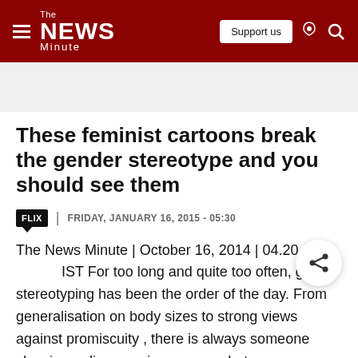The News Minute — Support us
These feminist cartoons break the gender stereotype and you should see them
FLIX | FRIDAY, JANUARY 16, 2015 - 05:30
The News Minute | October 16, 2014 | 04.20 IST For too long and quite too often, gender stereotyping has been the order of the day. From generalisation on body sizes to strong views against promiscuity , there is always someone showing a disapproving eye on what a woman can